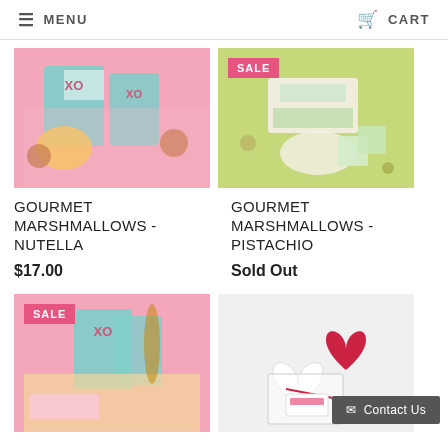MENU | CART
[Figure (photo): Gourmet Marshmallows Nutella product on pink background with XO branding boxes]
[Figure (photo): Gourmet Marshmallows Pistachio product on green background with SALE badge]
GOURMET MARSHMALLOWS - NUTELLA
$17.00
GOURMET MARSHMALLOWS - PISTACHIO
Sold Out
[Figure (photo): Gourmet marshmallow caramel product with SALE badge and XO branding on pink background]
[Figure (photo): Heart shaped marshmallow treats in clear bag with red ribbon on white background]